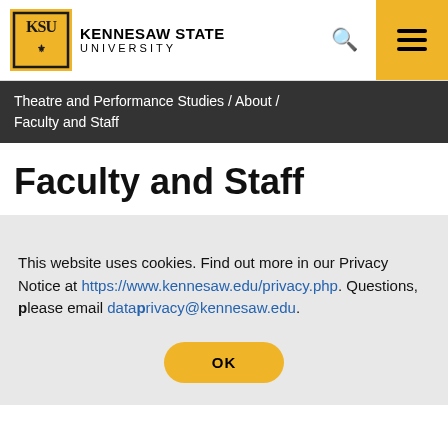KENNESAW STATE UNIVERSITY
Theatre and Performance Studies / About / Faculty and Staff
Faculty and Staff
This website uses cookies. Find out more in our Privacy Notice at https://www.kennesaw.edu/privacy.php. Questions, please email dataprivacy@kennesaw.edu.